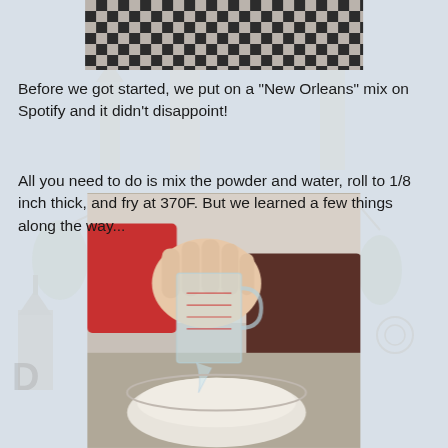[Figure (photo): Top photo showing a black and white checkered surface with some dark objects, cropped at top of page]
Before we got started, we put on a "New Orleans" mix on Spotify and it didn't disappoint!
All you need to do is mix the powder and water, roll to 1/8 inch thick, and fry at 370F. But we learned a few things along the way...
[Figure (photo): Photo of a person pouring water from a glass measuring cup into a bowl of white powder/flour, with a red appliance in the background]